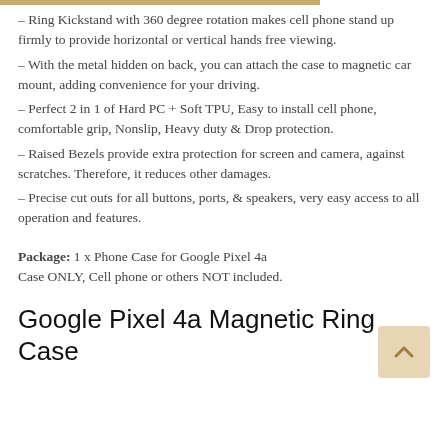– Ring Kickstand with 360 degree rotation makes cell phone stand up firmly to provide horizontal or vertical hands free viewing.
– With the metal hidden on back, you can attach the case to magnetic car mount, adding convenience for your driving.
– Perfect 2 in 1 of Hard PC + Soft TPU, Easy to install cell phone, comfortable grip, Nonslip, Heavy duty & Drop protection.
– Raised Bezels provide extra protection for screen and camera, against scratches. Therefore, it reduces other damages.
– Precise cut outs for all buttons, ports, & speakers, very easy access to all operation and features.
Package: 1 x Phone Case for Google Pixel 4a Case ONLY, Cell phone or others NOT included.
Google Pixel 4a Magnetic Ring Case